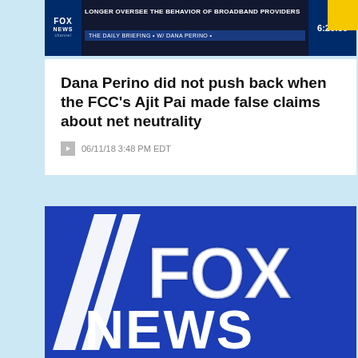[Figure (screenshot): Fox News channel TV screenshot showing headline 'LONGER OVERSEE THE BEHAVIOR OF BROADBAND PROVIDERS' with 'The Daily BRIEFING • W/ DANA PERINO' ticker and timestamp 6:26:36]
Dana Perino did not push back when the FCC's Ajit Pai made false claims about net neutrality
06/11/18 3:48 PM EDT
[Figure (photo): Fox News logo on blue background with large white stylized // checkmark followed by FOX NEWS text]